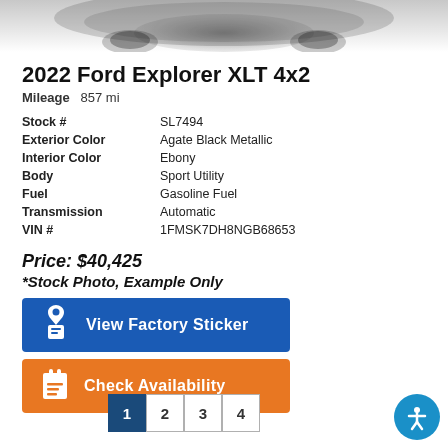[Figure (photo): Partial view of a vehicle (car) photo, cropped at the top of the page showing the lower portion of the vehicle.]
2022 Ford Explorer XLT 4x2
Mileage  857 mi
| Stock # | SL7494 |
| Exterior Color | Agate Black Metallic |
| Interior Color | Ebony |
| Body | Sport Utility |
| Fuel | Gasoline Fuel |
| Transmission | Automatic |
| VIN # | 1FMSK7DH8NGB68653 |
Price: $40,425
*Stock Photo, Example Only
[Figure (other): Blue button with tag icon labeled 'View Factory Sticker']
[Figure (other): Orange button with clipboard icon labeled 'Check Availability']
1  2  3  4